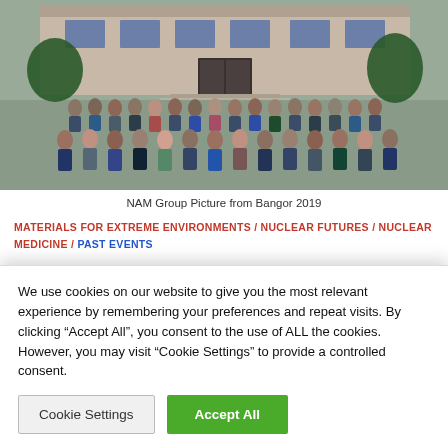[Figure (photo): Group photo of NAM participants standing in rows outside a brick building, Bangor 2019]
NAM Group Picture from Bangor 2019
MATERIALS FOR EXTREME ENVIRONMENTS / NUCLEAR FUTURES / NUCLEAR MEDICINE / PAST EVENTS
The Nuclear Futures Institute attends the Cambridge UK
We use cookies on our website to give you the most relevant experience by remembering your preferences and repeat visits. By clicking “Accept All”, you consent to the use of ALL the cookies. However, you may visit “Cookie Settings” to provide a controlled consent.